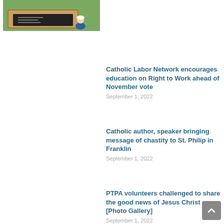[Figure (photo): A child sitting in front of a wooden outdoor chalkboard in a grassy area]
Catholic Labor Network encourages education on Right to Work ahead of November vote
September 1, 2022
Catholic author, speaker bringing message of chastity to St. Philip in Franklin
September 1, 2022
PTPA volunteers challenged to share the good news of Jesus Christ [Photo Gallery]
September 1, 2022